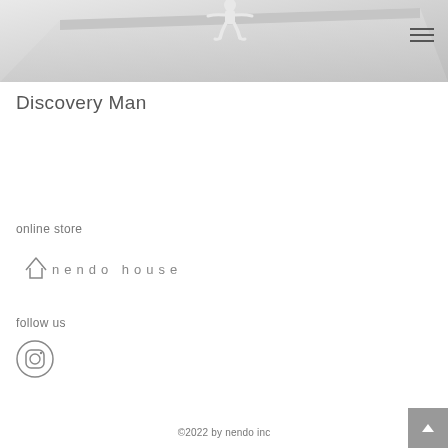[Figure (photo): White sculptural figure of a small person sitting/clinging to the edge of a white surface, shown against a light gray background. Part of 'Discovery Man' design object.]
Discovery Man
online store
[Figure (logo): nendo house logo — stylized house icon followed by spaced-out lowercase letters: 'n e n d o  h o u s e']
follow us
[Figure (illustration): Instagram icon (circle with rounded square camera outline and dot)]
©2022 by nendo inc